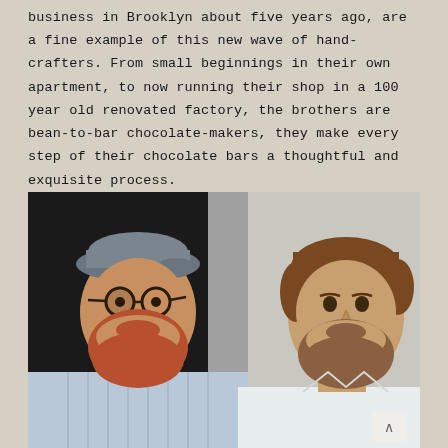business in Brooklyn about five years ago, are a fine example of this new wave of hand-crafters. From small beginnings in their own apartment, to now running their shop in a 100 year old renovated factory, the brothers are bean-to-bar chocolate-makers, they make every step of their chocolate bars a thoughtful and exquisite process.
[Figure (photo): Two bearded men side by side. Left man wears a grey flat cap and round glasses with a red beard, dressed in a striped shirt. Right man has brown hair and a beard, wearing a white shirt or chef's coat.]